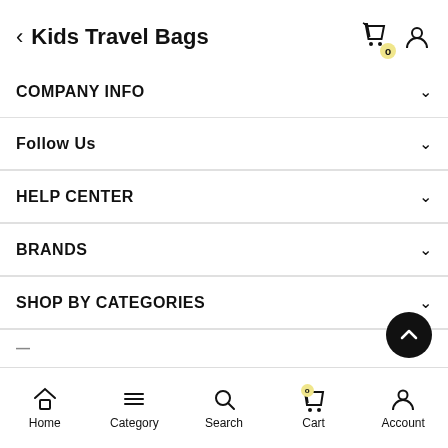Kids Travel Bags
COMPANY INFO
Follow Us
HELP CENTER
BRANDS
SHOP BY CATEGORIES
Home  Category  Search  Cart  Account